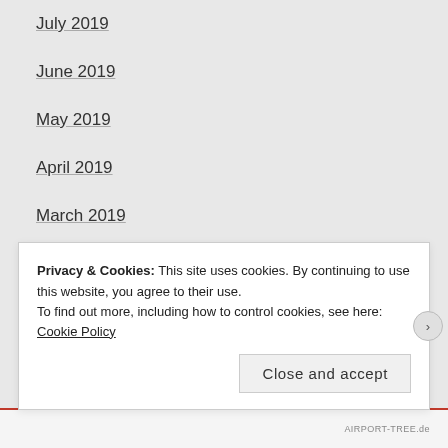July 2019
June 2019
May 2019
April 2019
March 2019
February 2019
January 2019
December 2018
November 2018
October 2018
Privacy & Cookies: This site uses cookies. By continuing to use this website, you agree to their use.
To find out more, including how to control cookies, see here: Cookie Policy
Close and accept